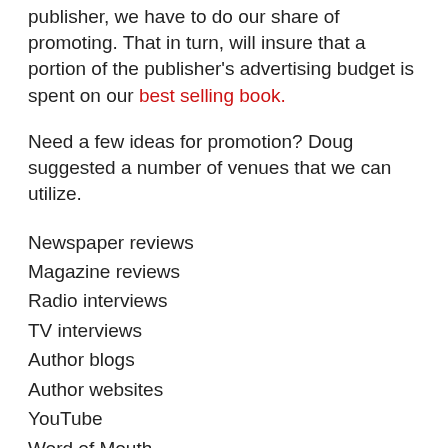publisher, we have to do our share of promoting. That in turn, will insure that a portion of the publisher's advertising budget is spent on our best selling book.
Need a few ideas for promotion? Doug suggested a number of venues that we can utilize.
Newspaper reviews
Magazine reviews
Radio interviews
TV interviews
Author blogs
Author websites
YouTube
Word of Mouth
Advertisements
Friends and family.
And when it came to the traditional method of publicizing—using the well-known book signing—there were a few ideas, as well.
Be on time.